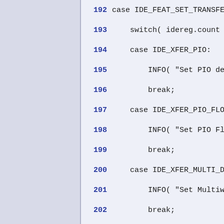192   case IDE_FEAT_SET_TRANSFER_M
193       switch( idereg.count & 0
194       case IDE_XFER_PIO:
195           INFO( "Set PIO defa
196           break;
197       case IDE_XFER_PIO_FLOW:
198           INFO( "Set PIO Flow-
199           break;
200       case IDE_XFER_MULTI_DMA:
201           INFO( "Set Multiword
202           break;
203       case IDE_XFER_ULTRA_DMA:
204           INFO( "Set Ultra DMA
205           break;
206       default:
207           INFO( "Setting unkno